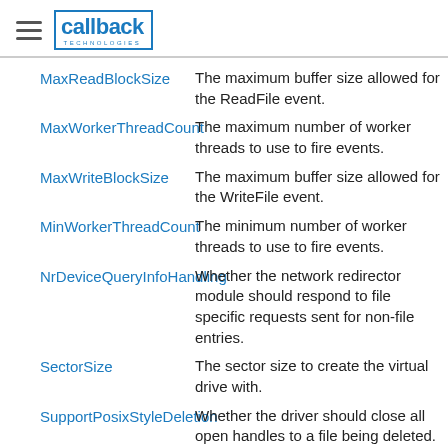callback Technologies
MaxReadBlockSize — The maximum buffer size allowed for the ReadFile event.
MaxWorkerThreadCount — The maximum number of worker threads to use to fire events.
MaxWriteBlockSize — The maximum buffer size allowed for the WriteFile event.
MinWorkerThreadCount — The minimum number of worker threads to use to fire events.
NrDeviceQueryInfoHandling — Whether the network redirector module should respond to file specific requests sent for non-file entries.
SectorSize — The sector size to create the virtual drive with.
SupportPosixStyleDeletion — Whether the driver should close all open handles to a file being deleted.